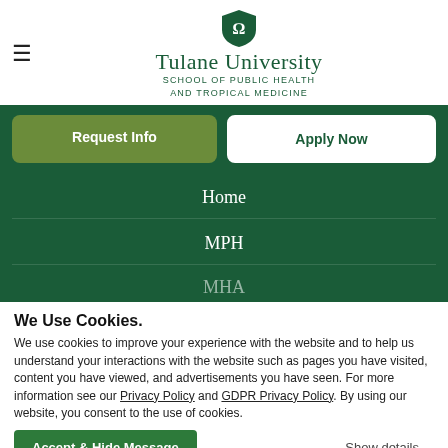[Figure (logo): Tulane University School of Public Health and Tropical Medicine logo with shield emblem]
Tulane University
SCHOOL OF PUBLIC HEALTH
AND TROPICAL MEDICINE
Request Info
Apply Now
Home
MPH
MHA
We Use Cookies.
We use cookies to improve your experience with the website and to help us understand your interactions with the website such as pages you have visited, content you have viewed, and advertisements you have seen. For more information see our Privacy Policy and GDPR Privacy Policy. By using our website, you consent to the use of cookies.
Accept & Hide Message
Show details